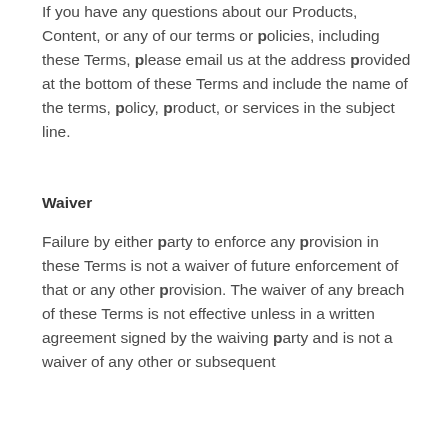If you have any questions about our Products, Content, or any of our terms or policies, including these Terms, please email us at the address provided at the bottom of these Terms and include the name of the terms, policy, product, or services in the subject line.
Waiver
Failure by either party to enforce any provision in these Terms is not a waiver of future enforcement of that or any other provision. The waiver of any breach of these Terms is not effective unless in a written agreement signed by the waiving party and is not a waiver of any other or subsequent